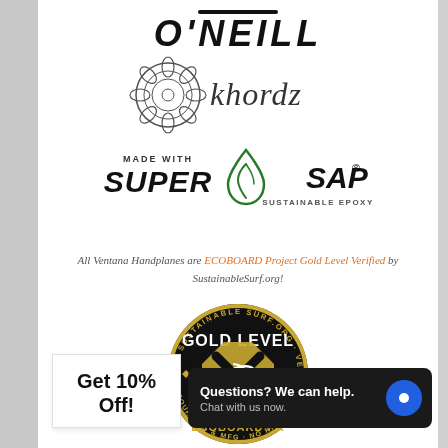[Figure (logo): O'Neill brand logo in bold italic uppercase lettering]
[Figure (logo): Khordz brand logo with geometric mandala icon and stylized text]
[Figure (logo): Made with Super Sap sustainable epoxy logo with green leaf/droplet icon]
All Ventana Handplanes are ECOBOARD Project Gold Level Verified by SustainableSurf.org!
[Figure (logo): ECOBOARD Project Gold Level badge - circular black and gold badge with X mark symbol]
Get 10% Off!
Questions? We can help. Chat with us now.